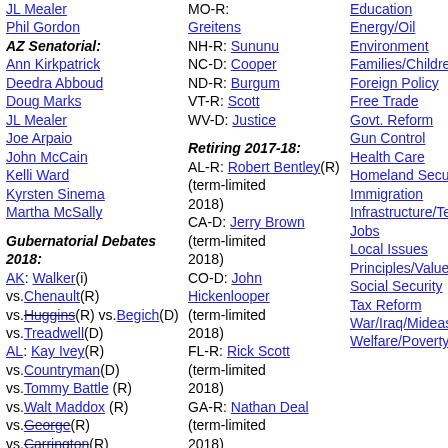JL Mealer
Phil Gordon
AZ Senatorial:
Ann Kirkpatrick
Deedra Abboud
Doug Marks
JL Mealer
Joe Arpaio
John McCain
Kelli Ward
Kyrsten Sinema
Martha McSally
Gubernatorial Debates 2018:
AK: Walker(i) vs.Chenault(R) vs.Huggins(R) vs.Begich(D) vs.Treadwell(D)
AL: Kay Ivey(R) vs.Countryman(D) vs.Tommy Battle (R) vs.Walt Maddox (R) vs.George(R) vs.Carrington(R)
AR: Hutchinson(R) vs.Henderson(D) vs.West(L)
AZ: Ducey(R) vs.David Garcia (D) vs.Farley(D)
CA: Newsom(D)
MO-R:
Greitens
NH-R: Sununu
NC-D: Cooper
ND-R: Burgum
VT-R: Scott
WV-D: Justice
Retiring 2017-18:
AL-R: Robert Bentley(R) (term-limited 2018)
CA-D: Jerry Brown (term-limited 2018)
CO-D: John Hickenlooper (term-limited 2018)
FL-R: Rick Scott (term-limited 2018)
GA-R: Nathan Deal (term-limited 2018)
IA-R: Terry
Education
Energy/Oil
Environment
Families/Children
Foreign Policy
Free Trade
Govt. Reform
Gun Control
Health Care
Homeland Security
Immigration
Infrastructure/Technology
Jobs
Local Issues
Principles/Values
Social Security
Tax Reform
War/Iraq/Mideast
Welfare/Poverty